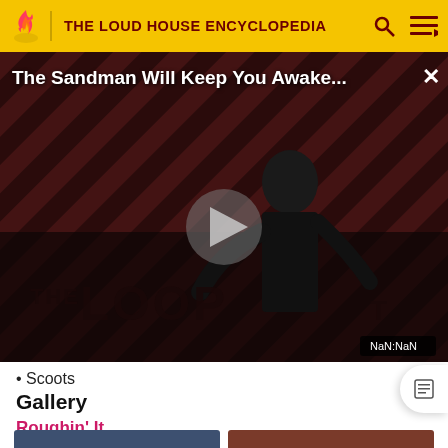THE LOUD HOUSE ENCYCLOPEDIA
[Figure (screenshot): Video player showing 'The Sandman Will Keep You Awake...' with dark striped background and figure in black, THE LOOP branding, play button, and NaN:NaN time display]
Scoots
Gallery
Roughin' It
[Figure (screenshot): Two gallery thumbnail images from 'Roughin' It' episode partially visible at bottom of page]